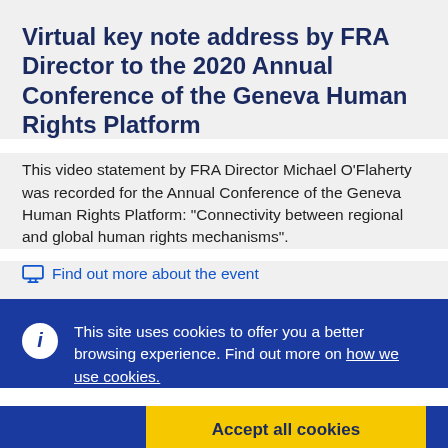Virtual key note address by FRA Director to the 2020 Annual Conference of the Geneva Human Rights Platform
This video statement by FRA Director Michael O'Flaherty was recorded for the Annual Conference of the Geneva Human Rights Platform: "Connectivity between regional and global human rights mechanisms".
Find out more about the event
This site uses cookies to offer you a better browsing experience. Find out more on how we use cookies.
Accept all cookies
Accept only essential cookies